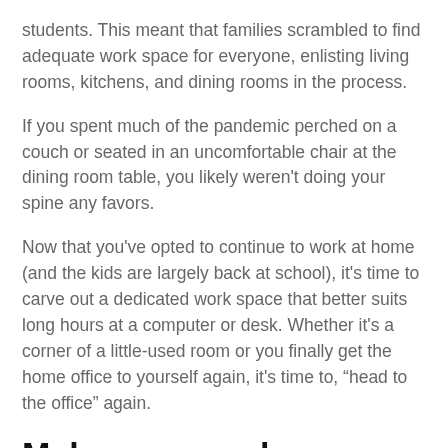students. This meant that families scrambled to find adequate work space for everyone, enlisting living rooms, kitchens, and dining rooms in the process.
If you spent much of the pandemic perched on a couch or seated in an uncomfortable chair at the dining room table, you likely weren't doing your spine any favors.
Now that you've opted to continue to work at home (and the kids are largely back at school), it's time to carve out a dedicated work space that better suits long hours at a computer or desk. Whether it's a corner of a little-used room or you finally get the home office to yourself again, it's time to, “head to the office” again.
Make your workspace spine-friendly